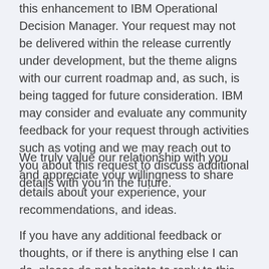this enhancement to IBM Operational Decision Manager. Your request may not be delivered within the release currently under development, but the theme aligns with our current roadmap and, as such, is being tagged for future consideration. IBM may consider and evaluate any community feedback for your request through activities such as voting and we may reach out to you about this request to discuss additional details with you in the future.
We truly value our relationship with you and appreciate your willingness to share details about your experience, your recommendations, and ideas.
If you have any additional feedback or thoughts, or if there is anything else I can do, please do not hesitate to reply to this